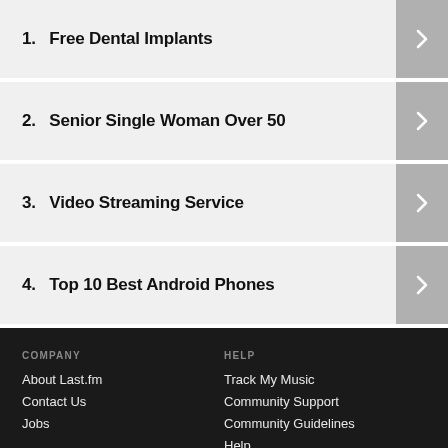1. Free Dental Implants
2. Senior Single Woman Over 50
3. Video Streaming Service
4. Top 10 Best Android Phones
COMPANY
About Last.fm
Contact Us
Jobs
HELP
Track My Music
Community Support
Community Guidelines
Help
×